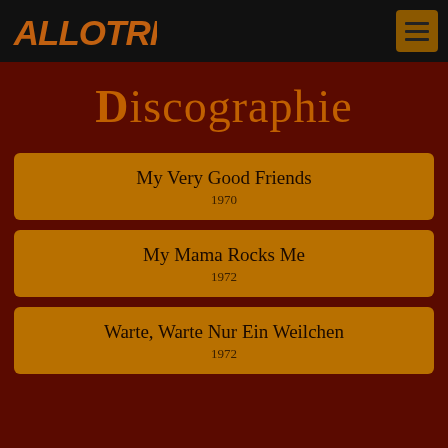ALLOTRIA — Navigation header with logo and menu button
Discographie
My Very Good Friends
1970
My Mama Rocks Me
1972
Warte, Warte Nur Ein Weilchen
1972